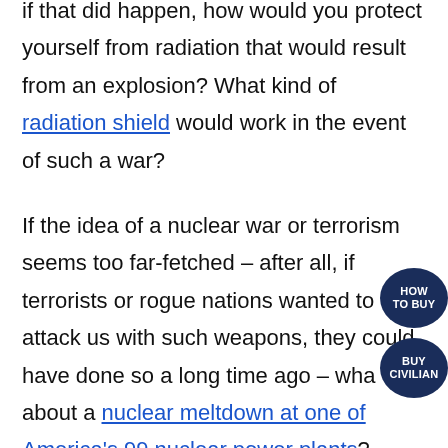if that did happen, how would you protect yourself from radiation that would result from an explosion? What kind of radiation shield would work in the event of such a war?
If the idea of a nuclear war or terrorism seems too far-fetched – after all, if terrorists or rogue nations wanted to attack us with such weapons, they could have done so a long time ago – what about a nuclear meltdown at one of America's 99 nuclear power plants? What kind of equipment